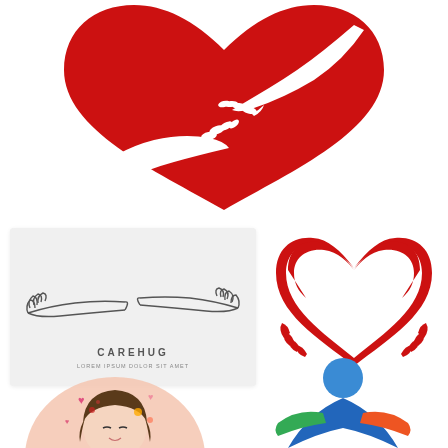[Figure (illustration): Red heart shape with two white hands/arms embracing it from below — charity/care logo illustration at top center]
[Figure (illustration): Light gray card with minimalist line-art of two hands (one from each side) reaching toward each other, with text 'CAREHUG' and subtitle 'LOREM IPSUM DOLOR SIT AMET' at bottom]
[Figure (illustration): Red heart shape formed by two arm/hand shapes embracing, creating a heart outline logo in red]
[Figure (illustration): Cartoon girl with brown hair, eyes closed, with pink/red heart shapes around her, on a peach circular background — partially visible at bottom left]
[Figure (illustration): Blue and green stylized people/community logo with a blue circle head and colorful arms — partially visible at bottom right]